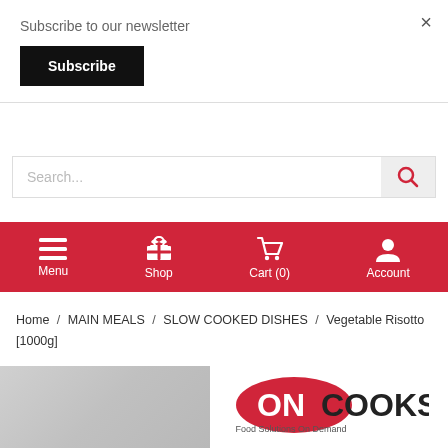Subscribe to our newsletter
Subscribe
×
Search...
[Figure (screenshot): Red navigation bar with Menu, Shop, Cart (0), and Account icons in white]
Menu
Shop
Cart (0)
Account
Home / MAIN MEALS / SLOW COOKED DISHES / Vegetable Risotto [1000g]
[Figure (logo): OnCooks logo - red oval with white ON text and COOKS in dark letters, tagline Food Solutions On Demand]